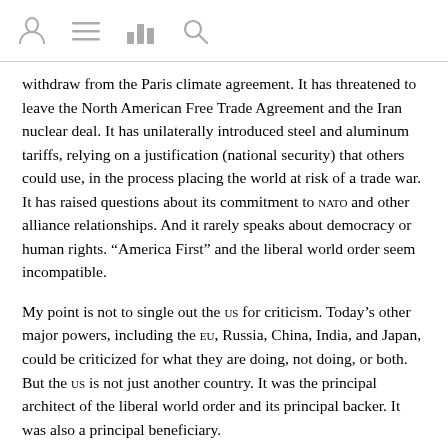[navigation icons: person, menu, chart, search]
withdraw from the Paris climate agreement. It has threatened to leave the North American Free Trade Agreement and the Iran nuclear deal. It has unilaterally introduced steel and aluminum tariffs, relying on a justification (national security) that others could use, in the process placing the world at risk of a trade war. It has raised questions about its commitment to NATO and other alliance relationships. And it rarely speaks about democracy or human rights. “America First” and the liberal world order seem incompatible.
My point is not to single out the US for criticism. Today’s other major powers, including the EU, Russia, China, India, and Japan, could be criticized for what they are doing, not doing, or both. But the US is not just another country. It was the principal architect of the liberal world order and its principal backer. It was also a principal beneficiary.
America’s decision to abandon the role it has played for more than seven decades thus marks a turning point. The liberal world order cannot survive on its own, because others lack either the interest or the means to sustain it. The result will be a world that is less free, less prosperous, and less peaceful, for Americans and others alike.
Richard N. Haass, President of the Council on Foreign Relations,